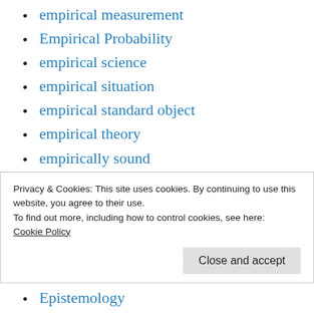empirical measurement
Empirical Probability
empirical science
empirical situation
empirical standard object
empirical theory
empirically sound
empowerment
Engineering
Engineering Management
engineering process
Privacy & Cookies: This site uses cookies. By continuing to use this website, you agree to their use.
To find out more, including how to control cookies, see here:
Cookie Policy
Epistemology